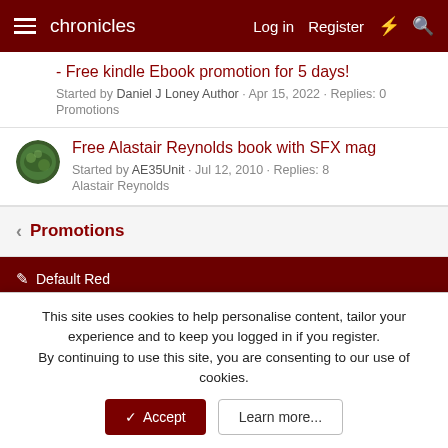chronicles | Log in | Register
- Free kindle Ebook promotion for 5 days! | Started by Daniel J Loney Author · Apr 15, 2022 · Replies: 0 | Promotions
Free Alastair Reynolds book with SFX mag | Started by AE35Unit · Jul 12, 2010 · Replies: 8 | Alastair Reynolds
< Promotions
Default Red | Terms and rules | Privacy policy | Help | Home | Community platform by XenForo® © 2010-2022 XenForo Ltd.
This site uses cookies to help personalise content, tailor your experience and to keep you logged in if you register. By continuing to use this site, you are consenting to our use of cookies.